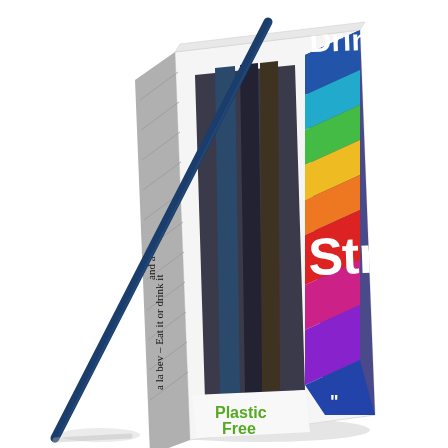[Figure (photo): Product photo of 'Drink Straw' packaging box with rainbow striped branding on the right side, showing dark blue straws inside a white box window, with text 'Plastic Free' in green on the front, and handwritten-style text on the side panel reading 'a la bev – Eat it or drink it'. A single dark blue straw leans diagonally against the box from lower-left to upper-right.]